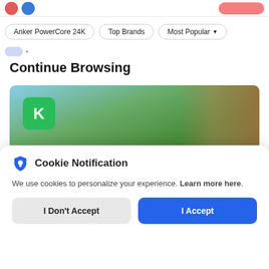Anker PowerCore 24K  Top Brands  Most Popular
Continue Browsing
[Figure (photo): Product image banner showing a green outdoor background with a Kickstarter-style green logo icon and a person's arm visible on the right side.]
Cookie Notification
We use cookies to personalize your experience. Learn more here.
I Don't Accept
I Accept